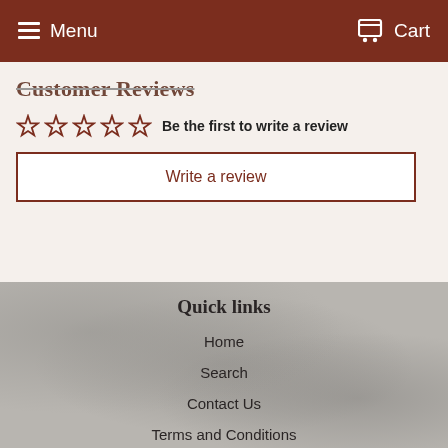Menu  Cart
Customer reviews
☆ ☆ ☆ ☆ ☆  Be the first to write a review
Write a review
Quick links
Home
Search
Contact Us
Terms and Conditions
Terms of Service
Refund policy